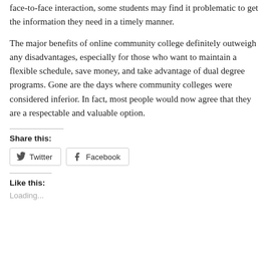face-to-face interaction, some students may find it problematic to get the information they need in a timely manner.
The major benefits of online community college definitely outweigh any disadvantages, especially for those who want to maintain a flexible schedule, save money, and take advantage of dual degree programs. Gone are the days where community colleges were considered inferior. In fact, most people would now agree that they are a respectable and valuable option.
Share this:
Twitter
Facebook
Like this:
Loading...